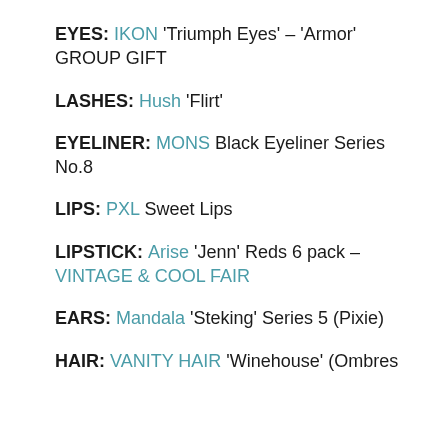EYES: IKON 'Triumph Eyes' – 'Armor' GROUP GIFT
LASHES: Hush 'Flirt'
EYELINER: MONS Black Eyeliner Series No.8
LIPS: PXL Sweet Lips
LIPSTICK: Arise 'Jenn' Reds 6 pack – VINTAGE & COOL FAIR
EARS: Mandala 'Steking' Series 5 (Pixie)
HAIR: VANITY HAIR 'Winehouse' (Ombres